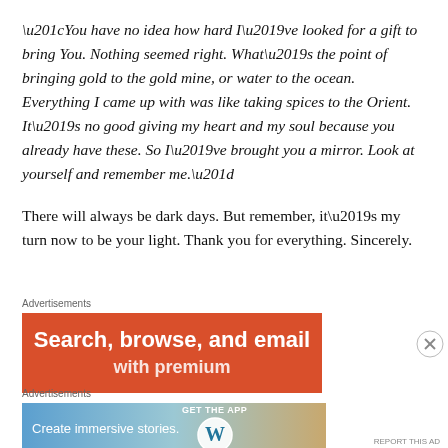“You have no idea how hard I’ve looked for a gift to bring You. Nothing seemed right. What’s the point of bringing gold to the gold mine, or water to the ocean. Everything I came up with was like taking spices to the Orient. It’s no good giving my heart and my soul because you already have these. So I’ve brought you a mirror. Look at yourself and remember me.”
There will always be dark days. But remember, it’s my turn now to be your light. Thank you for everything. Sincerely.
[Figure (other): Orange advertisement banner with white bold text: 'Search, browse, and email' and partial second line cut off]
[Figure (other): WordPress advertisement banner with blue-to-tan gradient, text 'Create immersive stories.' on left, 'GET THE APP' with WordPress logo on right]